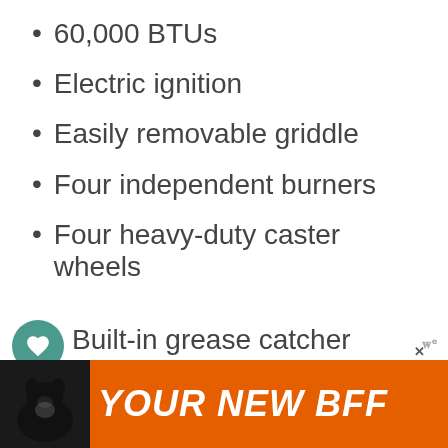60,000 BTUs
Electric ignition
Easily removable griddle
Four independent burners
Four heavy-duty caster wheels
Built-in grease catcher
Pros
easy to set up and start
Perfect when cooking for big parties... or
[Figure (screenshot): WHAT'S NEXT promotional panel with thumbnail image: 'This is Your Best Small...']
[Figure (other): Advertisement banner with orange background: 'YOUR NEW BFF' with dog image and close button]